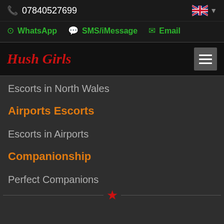07840527699
WhatsApp  SMS/iMessage  Email
Hush Girls
Escorts in North Wales
Airports Escorts
Escorts in Airports
Companionship
Perfect Companions